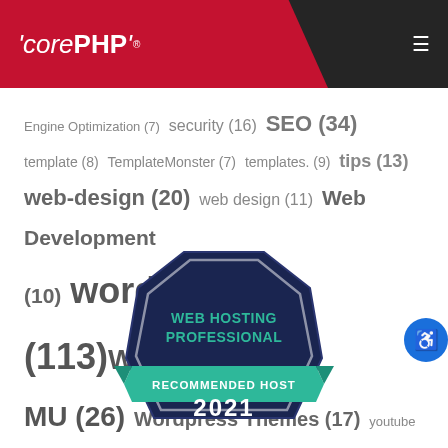'corePHP'® ☰
Engine Optimization (7) security (16) SEO (34) template (8) TemplateMonster (7) templates. (9) tips (13) web-design (20) web design (11) Web Development (10) wordpress (113) WordPress MU (26) Wordpress Themes (17) youtube (6)
[Figure (logo): Web Hosting Professional Recommended Host 2021 badge/seal badge in dark navy and teal green colors]